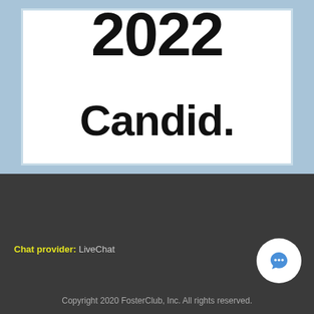[Figure (logo): Candid 2022 badge/seal with light blue border around white area showing '2022' at top and 'Candid.' below]
Chat provider: LiveChat
[Figure (other): LiveChat chat button - white circle with blue speech bubble icon]
Copyright 2020 FosterClub, Inc. All rights reserved.